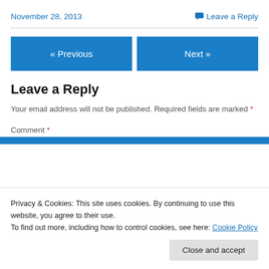November 28, 2013
Leave a Reply
« Previous
Next »
Leave a Reply
Your email address will not be published. Required fields are marked *
Comment *
Privacy & Cookies: This site uses cookies. By continuing to use this website, you agree to their use.
To find out more, including how to control cookies, see here: Cookie Policy
Close and accept